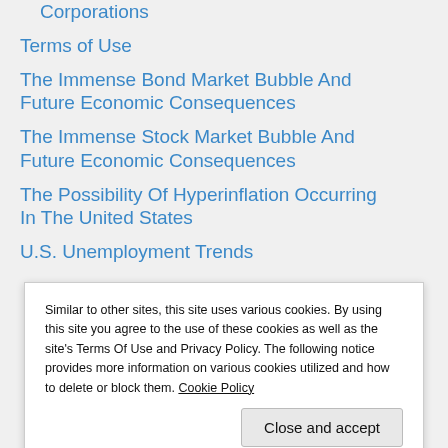Corporations
Terms of Use
The Immense Bond Market Bubble And Future Economic Consequences
The Immense Stock Market Bubble And Future Economic Consequences
The Possibility Of Hyperinflation Occurring In The United States
U.S. Unemployment Trends
Similar to other sites, this site uses various cookies. By using this site you agree to the use of these cookies as well as the site’s Terms Of Use and Privacy Policy. The following notice provides more information on various cookies utilized and how to delete or block them. Cookie Policy
Close and accept
Select Month